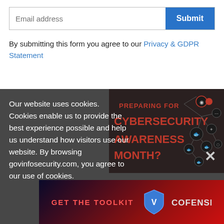Email address
By submitting this form you agree to our Privacy & GDPR Statement
[Figure (screenshot): Cookie consent overlay on a cybersecurity website (govinfosecurity.com). Contains a cybersecurity awareness month promotional graphic with network nodes/fish icons and a Cofense banner. An X close button is visible on the right side.]
Our website uses cookies. Cookies enable us to provide the best experience possible and help us understand how visitors use our website. By browsing govinfosecurity.com, you agree to our use of cookies.